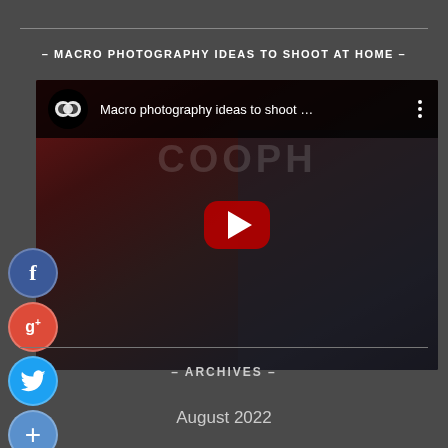– MACRO PHOTOGRAPHY IDEAS TO SHOOT AT HOME –
[Figure (screenshot): YouTube video thumbnail showing a photographer using a macro lens, with YouTube player controls including channel logo, video title 'Macro photography ideas to shoot ...' and a red play button overlay]
– ARCHIVES –
August 2022